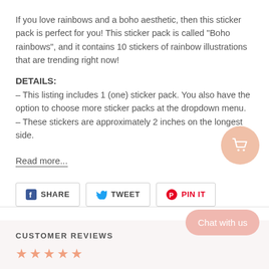If you love rainbows and a boho aesthetic, then this sticker pack is perfect for you! This sticker pack is called "Boho rainbows", and it contains 10 stickers of rainbow illustrations that are trending right now!
DETAILS:
– This listing includes 1 (one) sticker pack. You also have the option to choose more sticker packs at the dropdown menu.
– These stickers are approximately 2 inches on the longest side.
Read more...
[Figure (other): Social share buttons: Share (Facebook), Tweet (Twitter), Pin It (Pinterest)]
CUSTOMER REVIEWS
[Figure (other): Five star rating displayed with orange star icons]